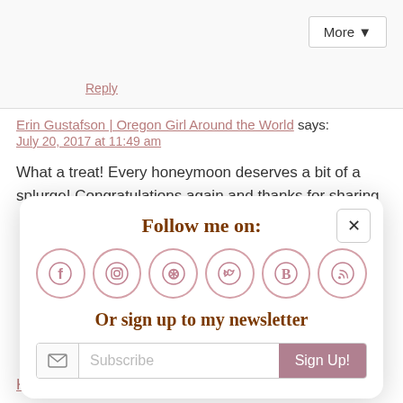Reply
Erin Gustafson | Oregon Girl Around the World says:
July 20, 2017 at 11:49 am
What a treat! Every honeymoon deserves a bit of a splurge! Congratulations again and thanks for sharing
[Figure (infographic): Follow me on: popup/modal with social media icons (Facebook, Instagram, Pinterest, Twitter, Bloglovin, RSS), newsletter sign-up form with Subscribe input and Sign Up! button, and close (x) button]
Katy says: